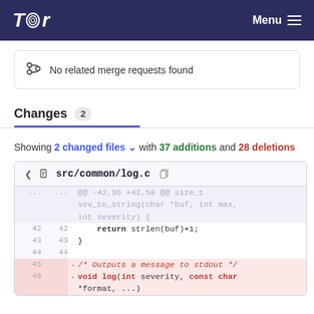Tor — Menu
No related merge requests found
Changes 2
Showing 2 changed files with 37 additions and 28 deletions
src/common/log.c — diff hunk: @@ -42,36 +42,50 @@ size_t sev_to_string(char *buf, int max, int severity) {
42  42  return strlen(buf)+1;
43  43  }
44  44  
45  -  /* Outputs a message to stdout */
46  -  void log(int severity, const char *format, ...)